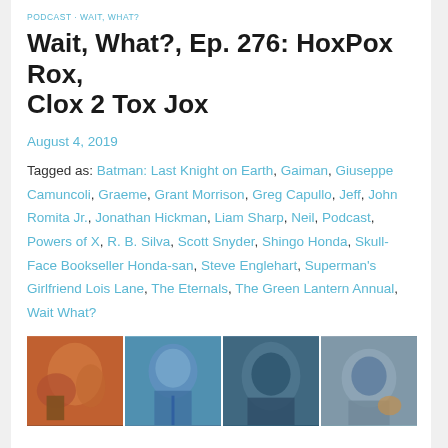PODCAST · WAIT, WHAT?
Wait, What?, Ep. 276: HoxPox Rox, Clox 2 Tox Jox
August 4, 2019
Tagged as: Batman: Last Knight on Earth, Gaiman, Giuseppe Camuncoli, Graeme, Grant Morrison, Greg Capullo, Jeff, John Romita Jr., Jonathan Hickman, Liam Sharp, Neil, Podcast, Powers of X, R. B. Silva, Scott Snyder, Shingo Honda, Skull-Face Bookseller Honda-san, Steve Englehart, Superman's Girlfriend Lois Lane, The Eternals, The Green Lantern Annual, Wait What?
[Figure (photo): Comic book panel artwork showing superhero characters in action]